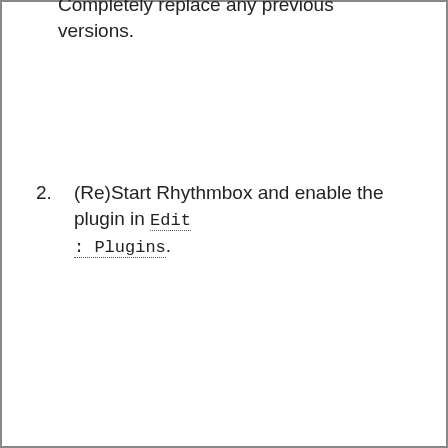Completely replace any previous versions.
2. (Re)Start Rhythmbox and enable the plugin in Edit : Plugins.
Todo
Force “Properties” to bottom of browser context menu (may depend on placeholder being added to